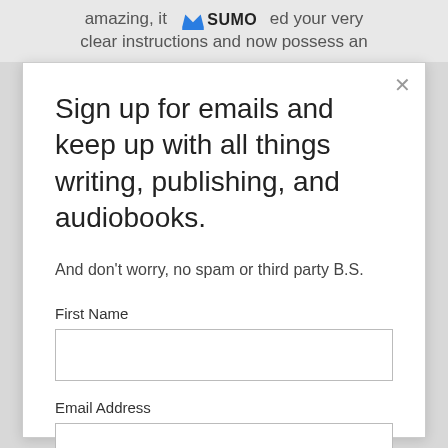amazing, it  SUMO  ed your very clear instructions and now possess an
Sign up for emails and keep up with all things writing, publishing, and audiobooks.
And don't worry, no spam or third party B.S.
First Name
Email Address
Subscribe